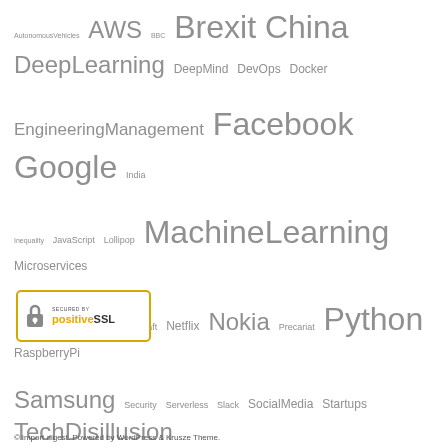[Figure (infographic): Tag cloud with various technology and current-events topics in varying font sizes indicating frequency/popularity. Tags include: AutonomousVehicles, AWS, BBC, Brexit, China, DeepLearning, DeepMind, DevOps, Docker, EngineeringManagement, Facebook, Google, India, Inequality, JavaScript, Lollipop, MachineLearning, Microservices, Microsoft, Minecraft, Netflix, Nokia, Precariat, Python, RaspberryPi, Samsung, Security, Serverless, Slack, SocialMedia, Startups, TechDisillusion, TechnologicalUnemployment, TensorFlow, Trump, Uber, Xiaomi]
[Figure (logo): Secured by PositiveSSL badge — gold border rectangle with padlock icon and PositiveSSL text]
© import digest. Powered by WordPress & Krusze Theme.